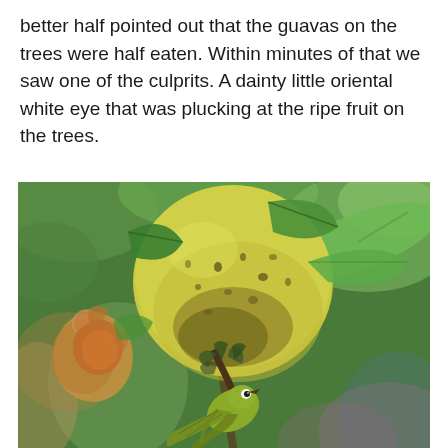better half pointed out that the guavas on the trees were half eaten. Within minutes of that we saw one of the culprits. A dainty little oriental white eye that was plucking at the ripe fruit on the trees.
[Figure (photo): Close-up photograph of a ripe yellow-green guava fruit hanging on a tree with green leaves in the background. A small yellow-green bird (oriental white-eye) is visible below the fruit, appearing to pluck at it. A second partially eaten or damaged fruit is visible on the left side.]